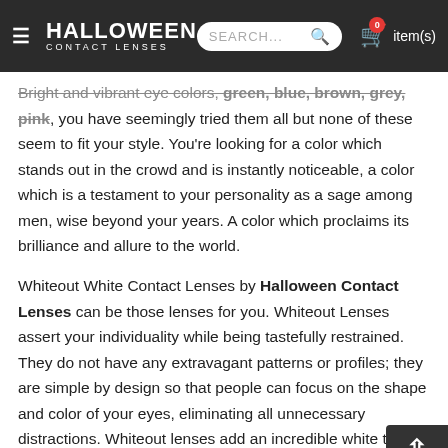HALLOWEEN CONTACT LENSES — SEARCH... 0 item(s)
Bright and vibrant eye colors, green, blue, brown, grey, pink, you have seemingly tried them all but none of these seem to fit your style. You're looking for a color which stands out in the crowd and is instantly noticeable, a color which is a testament to your personality as a sage among men, wise beyond your years. A color which proclaims its brilliance and allure to the world.

Whiteout White Contact Lenses by Halloween Contact Lenses can be those lenses for you. Whiteout Lenses assert your individuality while being tastefully restrained. They do not have any extravagant patterns or profiles; they are simple by design so that people can focus on the shape and color of your eyes, eliminating all unnecessary distractions. Whiteout lenses add an incredible white tint to the iris, completely covering your natural eye color, whi...